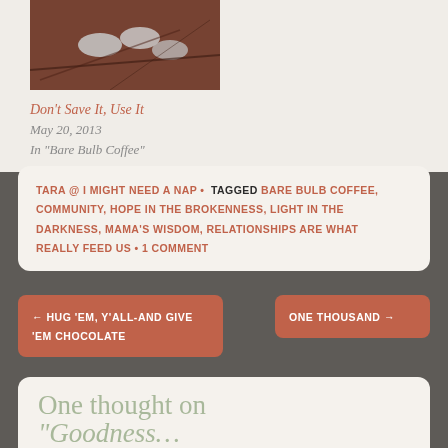[Figure (photo): A brown-toned painting or photo of birds with branches]
Don't Save It, Use It
May 20, 2013
In "Bare Bulb Coffee"
TARA @ I MIGHT NEED A NAP • TAGGED BARE BULB COFFEE, COMMUNITY, HOPE IN THE BROKENNESS, LIGHT IN THE DARKNESS, MAMA'S WISDOM, RELATIONSHIPS ARE WHAT REALLY FEED US • 1 COMMENT
← HUG 'EM, Y'ALL-AND GIVE 'EM CHOCOLATE
ONE THOUSAND →
One thought on